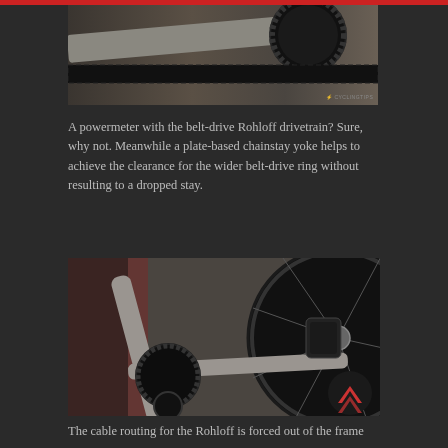[Figure (photo): Close-up photo of a bicycle belt-drive drivetrain showing the Rohloff hub, belt ring, chainstay yoke, and bicycle chain/belt components against a blurred outdoor background. CyclingTips watermark visible.]
A powermeter with the belt-drive Rohloff drivetrain? Sure, why not. Meanwhile a plate-based chainstay yoke helps to achieve the clearance for the wider belt-drive ring without resulting to a dropped stay.
[Figure (photo): Close-up photo of a titanium bicycle rear triangle showing the chainstay yoke detail, belt-drive pulley system, rear wheel with spokes, and Rohloff hub. A red and black logo/badge is visible in the bottom right corner of the image.]
The cable routing for the Rohloff is forced out of the frame